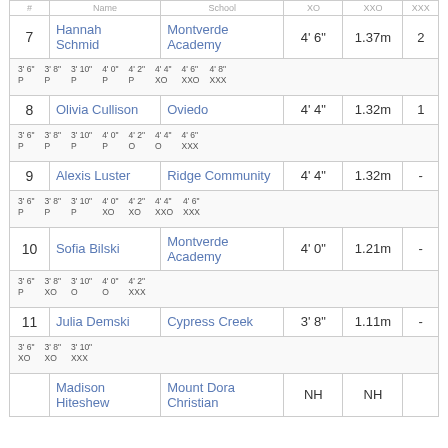| # | Name | School | Height (imp) | Height (met) | Pts |
| --- | --- | --- | --- | --- | --- |
| 7 | Hannah Schmid | Montverde Academy | 4' 6" | 1.37m | 2 |
|  | 3' 6" P | 3' 8" P | 3' 10" P | 4' 0" P | 4' 2" P | 4' 4" XO | 4' 6" XXO | 4' 8" XXX |  |
| 8 | Olivia Cullison | Oviedo | 4' 4" | 1.32m | 1 |
|  | 3' 6" P | 3' 8" P | 3' 10" P | 4' 0" P | 4' 2" O | 4' 4" O | 4' 6" XXX |  |
| 9 | Alexis Luster | Ridge Community | 4' 4" | 1.32m | - |
|  | 3' 6" P | 3' 8" P | 3' 10" P | 4' 0" XO | 4' 2" XO | 4' 4" XXO | 4' 6" XXX |  |
| 10 | Sofia Bilski | Montverde Academy | 4' 0" | 1.21m | - |
|  | 3' 6" P | 3' 8" XO | 3' 10" O | 4' 0" O | 4' 2" XXX |  |
| 11 | Julia Demski | Cypress Creek | 3' 8" | 1.11m | - |
|  | 3' 6" XO | 3' 8" XO | 3' 10" XXX |  |
|  | Madison Hiteshew | Mount Dora Christian | NH | NH |  |